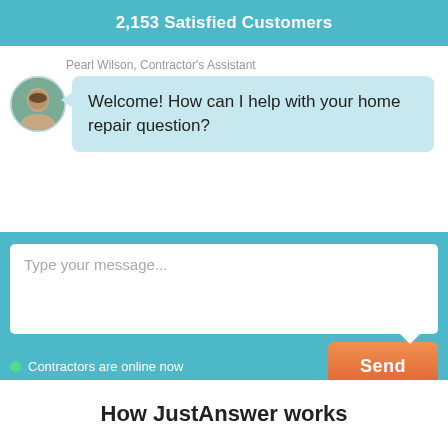2,153 Satisfied Customers
Pearl Wilson, Contractor's Assistant
Welcome! How can I help with your home repair question?
Type your message...
Contractors are online now
Send
How JustAnswer works